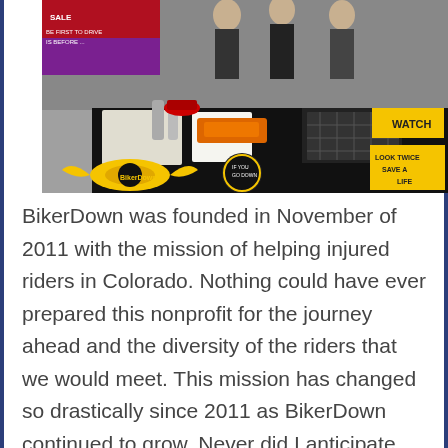[Figure (photo): Outdoor event booth with a black table covered in brochures, papers, and merchandise. A yellow and black BikerDown logo tablecloth is visible. People stand behind the table. Signs include 'Look Twice Save a Life' and 'If You Go Down' badges. A purple/red sale banner is in the top left.]
BikerDown was founded in November of 2011 with the mission of helping injured riders in Colorado. Nothing could have ever prepared this nonprofit for the journey ahead and the diversity of the riders that we would meet. This mission has changed so drastically since 2011 as BikerDown continued to grow. Never did I anticipate that we would be so actively involved with an injured rider's family and friends. I never anticipated the need for this nonprofit would be so great that we would help over 65 families with their motorcycle